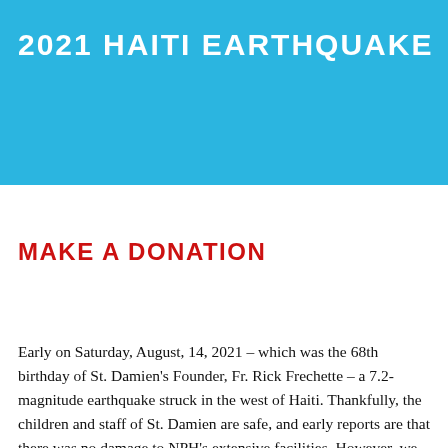2021 HAITI EARTHQUAKE
MAKE A DONATION
Early on Saturday, August, 14, 2021 – which was the 68th birthday of St. Damien's Founder, Fr. Rick Frechette – a 7.2-magnitude earthquake struck in the west of Haiti. Thankfully, the children and staff of St. Damien are safe, and early reports are that there was no damage to NPH's extensive facilities. However, we anticipate incurring